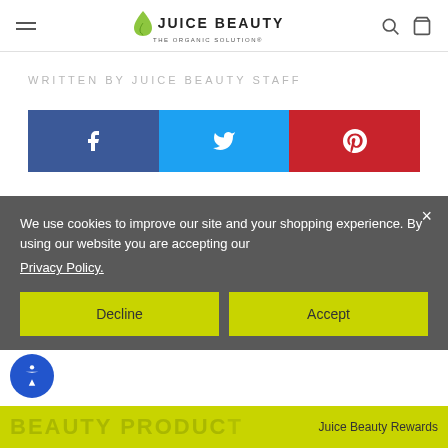JUICE BEAUTY - THE ORGANIC SOLUTION
WRITTEN BY JUICE BEAUTY STAFF
[Figure (infographic): Social share bar with Facebook (blue), Twitter (cyan), and Pinterest (red) buttons with white icons]
We use cookies to improve our site and your shopping experience. By using our website you are accepting our Privacy Policy.
Decline  Accept
BEAUTY PRODUCT  Juice Beauty Rewards